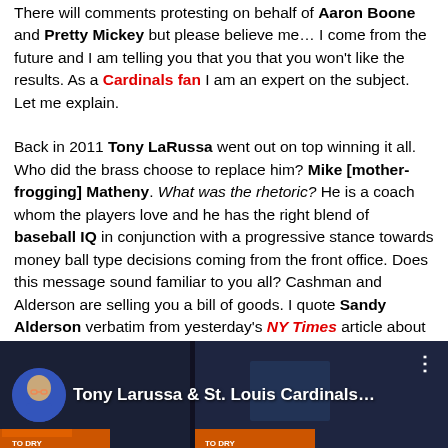There will comments protesting on behalf of Aaron Boone and Pretty Mickey but please believe me… I come from the future and I am telling you that you that you won't like the results. As a Cardinals fan I am an expert on the subject. Let me explain.
Back in 2011 Tony LaRussa went out on top winning it all. Who did the brass choose to replace him? Mike [mother-frogging] Matheny. What was the rhetoric? He is a coach whom the players love and he has the right blend of baseball IQ in conjunction with a progressive stance towards money ball type decisions coming from the front office. Does this message sound familiar to you all? Cashman and Alderson are selling you a bill of goods. I quote Sandy Alderson verbatim from yesterday's NY Times article about Mickey, "In our case, we're looking for an opportunity to influence the decision-making. Not to direct it, but to provide whatever we can to support the manager."
[Figure (screenshot): Video thumbnail showing Tony Larussa & St. Louis Cardinals with avatar icon and three-dot menu]